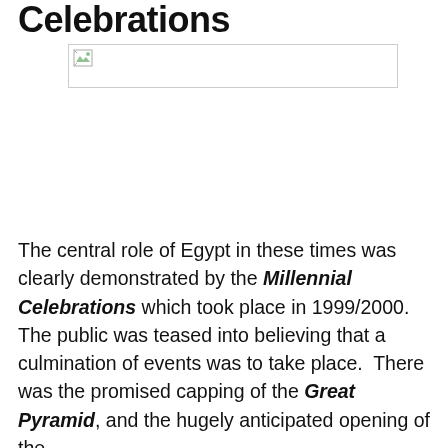Celebrations
[Figure (photo): Broken/missing image placeholder with border]
The central role of Egypt in these times was clearly demonstrated by the Millennial Celebrations which took place in 1999/2000.  The public was teased into believing that a culmination of events was to take place.  There was the promised capping of the Great Pyramid, and the hugely anticipated opening of the